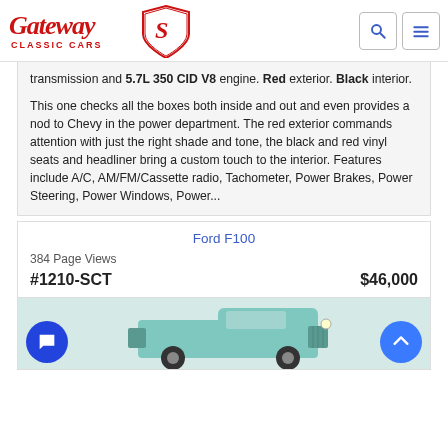Gateway Classic Cars
transmission and 5.7L 350 CID V8 engine. Red exterior. Black interior.

This one checks all the boxes both inside and out and even provides a nod to Chevy in the power department. The red exterior commands attention with just the right shade and tone, the black and red vinyl seats and headliner bring a custom touch to the interior. Features include A/C, AM/FM/Cassette radio, Tachometer, Power Brakes, Power Steering, Power Windows, Power...
Ford F100
384 Page Views
#1210-SCT    $46,000
[Figure (photo): Front view of a classic Ford F100 truck in light teal/turquoise color, partial view showing front grille and cab]